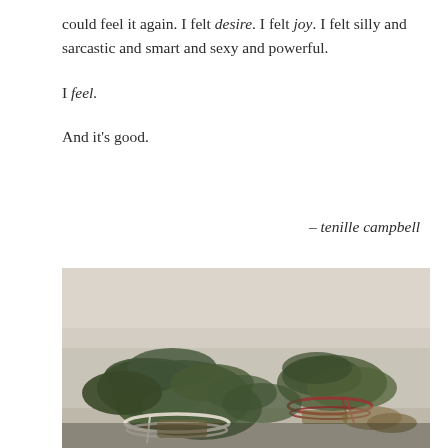could feel it again. I felt desire. I felt joy. I felt silly and sarcastic and smart and sexy and powerful.

I feel.

And it's good.
– tenille campbell
[Figure (photo): Close-up photograph of dried herb bundles (likely sage smudge sticks) tied with white and red string, arranged on a surface, with blurred background.]